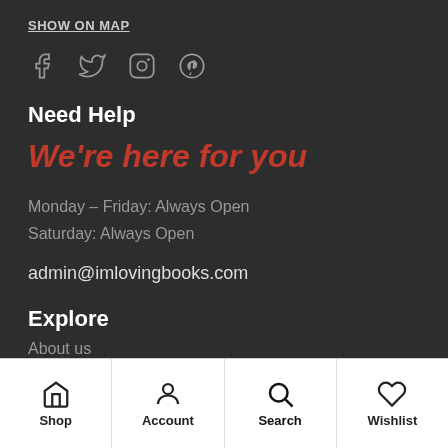SHOW ON MAP
[Figure (infographic): Social media icons: Facebook, Twitter, Instagram, Pinterest]
Need Help
We're here for you
Monday – Friday: Always Open
Saturday: Always Open
admin@imlovingbooks.com
Explore
About us
Shop | Account | Search | Wishlist